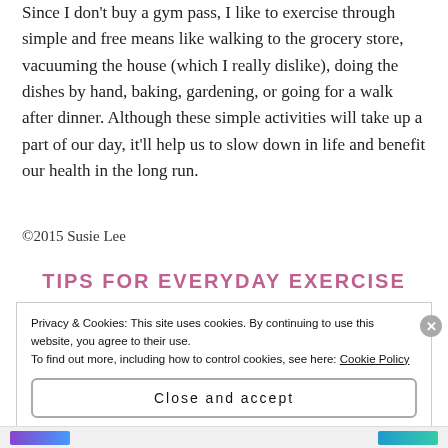Since I don't buy a gym pass, I like to exercise through simple and free means like walking to the grocery store, vacuuming the house (which I really dislike), doing the dishes by hand, baking, gardening, or going for a walk after dinner. Although these simple activities will take up a part of our day, it'll help us to slow down in life and benefit our health in the long run.
©2015 Susie Lee
TIPS FOR EVERYDAY EXERCISE
Privacy & Cookies: This site uses cookies. By continuing to use this website, you agree to their use.
To find out more, including how to control cookies, see here: Cookie Policy
Close and accept